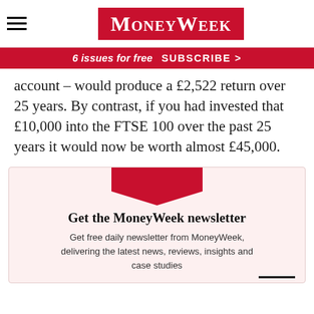MoneyWeek
6 issues for free  SUBSCRIBE >
account – would produce a £2,522 return over 25 years. By contrast, if you had invested that £10,000 into the FTSE 100 over the past 25 years it would now be worth almost £45,000.
Get the MoneyWeek newsletter
Get free daily newsletter from MoneyWeek, delivering the latest news, reviews, insights and case studies